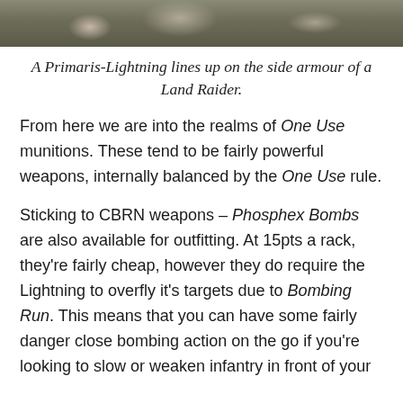[Figure (photo): Photograph of a Primaris-Lightning aircraft lined up on the side armour of a Land Raider tank, showing miniature wargaming models.]
A Primaris-Lightning lines up on the side armour of a Land Raider.
From here we are into the realms of One Use munitions. These tend to be fairly powerful weapons, internally balanced by the One Use rule.
Sticking to CBRN weapons – Phosphex Bombs are also available for outfitting. At 15pts a rack, they're fairly cheap, however they do require the Lightning to overfly it's targets due to Bombing Run. This means that you can have some fairly danger close bombing action on the go if you're looking to slow or weaken infantry in front of your